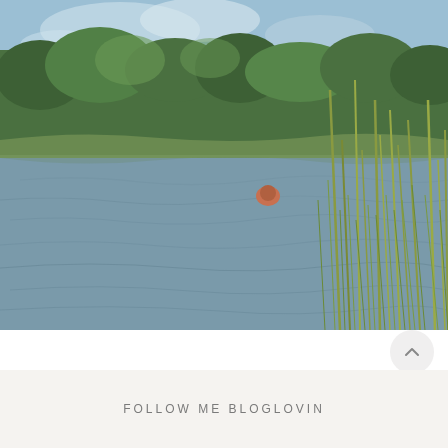[Figure (photo): Outdoor nature photograph showing a calm lake or pond with rippling water in the foreground, tall ornamental grasses (pampas grass) with feathery plumes on the right side, and a background of dense green trees under a partly cloudy sky. A partially visible person can be seen in the water near the center.]
FOLLOW ME BLOGLOVIN